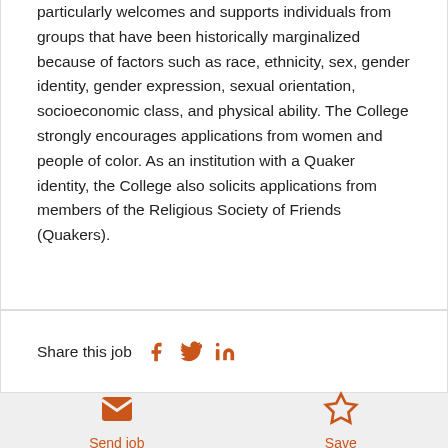particularly welcomes and supports individuals from groups that have been historically marginalized because of factors such as race, ethnicity, sex, gender identity, gender expression, sexual orientation, socioeconomic class, and physical ability. The College strongly encourages applications from women and people of color. As an institution with a Quaker identity, the College also solicits applications from members of the Religious Society of Friends (Quakers).
Share this job
Send job
Save